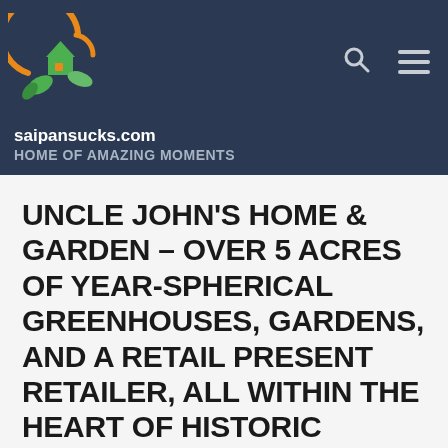[Figure (logo): Circular logo with green house and leaves, orange crescent arc, on dark navy background]
saipansucks.com
HOME OF AMAZING MOMENTS
UNCLE JOHN'S HOME & GARDEN – OVER 5 ACRES OF YEAR-SPHERICAL GREENHOUSES, GARDENS, AND A RETAIL PRESENT RETAILER, ALL WITHIN THE HEART OF HISTORIC OLMSTED FALLS OHIO.